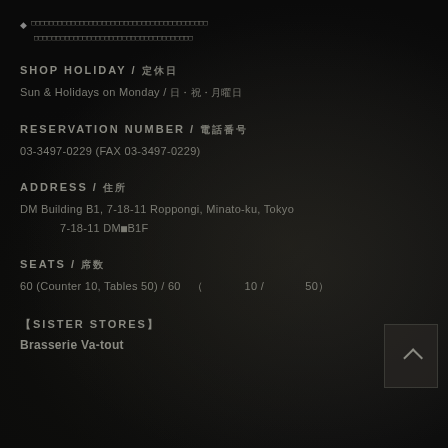◆ [Japanese text line 1]
[Japanese text line 2]
SHOP HOLIDAY / 定休日
Sun & Holidays on Monday / 日・祝・月曜日
RESERVATION NUMBER / 予約番号
03-3497-0229 (FAX 03-3497-0229)
ADDRESS / 住所
DM Building B1, 7-18-11 Roppongi, Minato-ku, Tokyo
7-18-11 DM■B1F
SEATS / 席数
60 (Counter 10, Tables 50) / 60　（　　　　10 /　　　　50）
【SISTER STORES】
Brasserie Va-tout